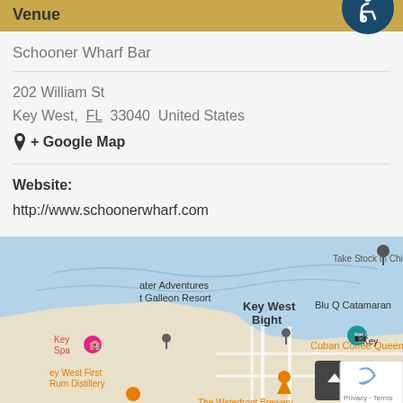Venue
Schooner Wharf Bar
202 William St
Key West, FL 33040 United States
+ Google Map
Website:
http://www.schoonerwharf.com
[Figure (map): Google Map showing Key West Bight area with markers for Schooner Wharf Bar and nearby locations including Cuban Coffee Queen, The Waterfront Brewery, Key West First Rum Distillery, Blu Q Catamaran, Take Stock In Children, and Key Spa.]